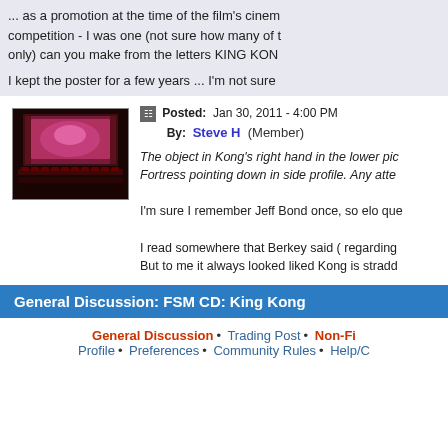... as a promotion at the time of the film's cinema competition - I was one (not sure how many of only) can you make from the letters KING KON
I kept the poster for a few years ... I'm not sure
Posted: Jan 30, 2011 - 4:00 PM  By: Steve H (Member)
[Figure (photo): Cinema screen with red seats, lit in pink/magenta light]
The object in Kong's right hand in the lower pic Fortress pointing down in side profile. Any atte
I'm sure I remember Jeff Bond once, so elo que
I read somewhere that Berkey said ( regarding But to me it always looked liked Kong is stradd
General Discussion: FSM CD: King Kong
General Discussion • Trading Post • Non-Fi Profile • Preferences • Community Rules • Help/C